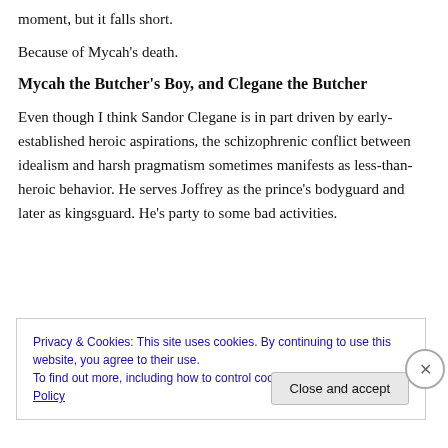moment, but it falls short.
Because of Mycah's death.
Mycah the Butcher's Boy, and Clegane the Butcher
Even though I think Sandor Clegane is in part driven by early-established heroic aspirations, the schizophrenic conflict between idealism and harsh pragmatism sometimes manifests as less-than-heroic behavior. He serves Joffrey as the prince's bodyguard and later as kingsguard. He's party to some bad activities.
Privacy & Cookies: This site uses cookies. By continuing to use this website, you agree to their use.
To find out more, including how to control cookies, see here: Cookie Policy